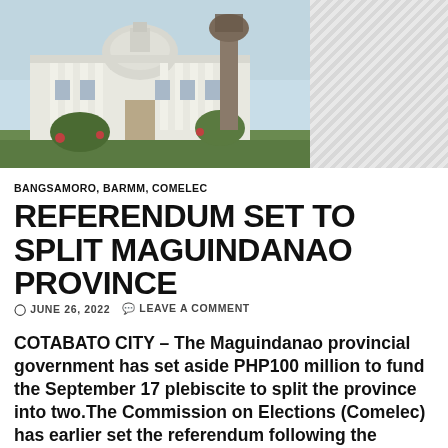[Figure (photo): Photograph of a white government building with columns and dome, with a decorative statue/landmark in the foreground. Right portion is a hatched/diagonal pattern placeholder.]
BANGSAMORO, BARMM, COMELEC
REFERENDUM SET TO SPLIT MAGUINDANAO PROVINCE
⊙ JUNE 26, 2022   ✉ LEAVE A COMMENT
COTABATO CITY – The Maguindanao provincial government has set aside PHP100 million to fund the September 17 plebiscite to split the province into two.The Commission on Elections (Comelec) has earlier set the referendum following the ratification of Republic Act